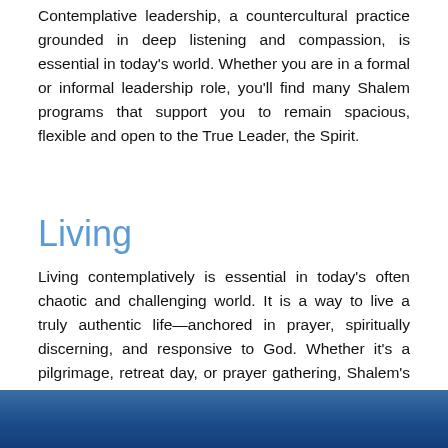Contemplative leadership, a countercultural practice grounded in deep listening and compassion, is essential in today's world. Whether you are in a formal or informal leadership role, you'll find many Shalem programs that support you to remain spacious, flexible and open to the True Leader, the Spirit.
Living
Living contemplatively is essential in today's often chaotic and challenging world. It is a way to live a truly authentic life—anchored in prayer, spiritually discerning, and responsive to God. Whether it's a pilgrimage, retreat day, or prayer gathering, Shalem's programs offer support and deepening for your contemplative life.
[Figure (photo): Blue gradient background image — dark blue rectangle at the bottom of the page]